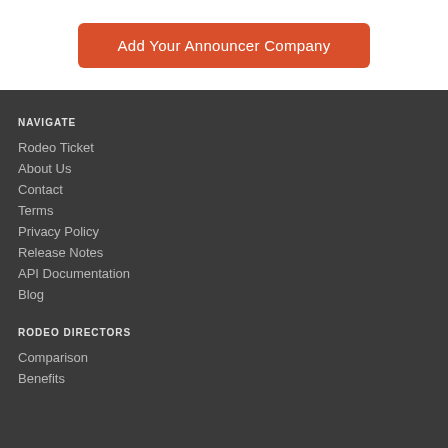Add Your Announcer Company
NAVIGATE
Rodeo Ticket
About Us
Contact
Terms
Privacy Policy
Release Notes
API Documentation
Blog
RODEO DIRECTORS
Comparison
Benefits